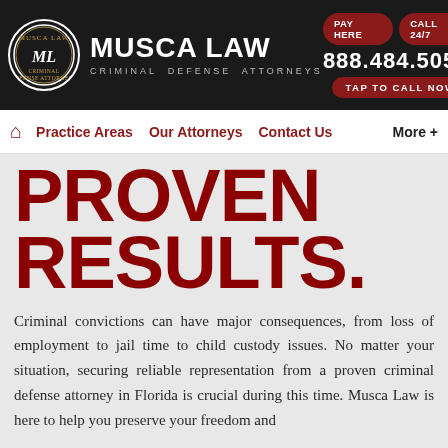MUSCA LAW - CRIMINAL DEFENSE ATTORNEYS | PAY HERE | CALL 24/7 | 888.484.5057 | TAP TO CALL NOW
Practice Areas | Our Attorneys | Contact Us | More +
PROVEN RESULTS.
Criminal convictions can have major consequences, from loss of employment to jail time to child custody issues. No matter your situation, securing reliable representation from a proven criminal defense attorney in Florida is crucial during this time. Musca Law is here to help you preserve your freedom and